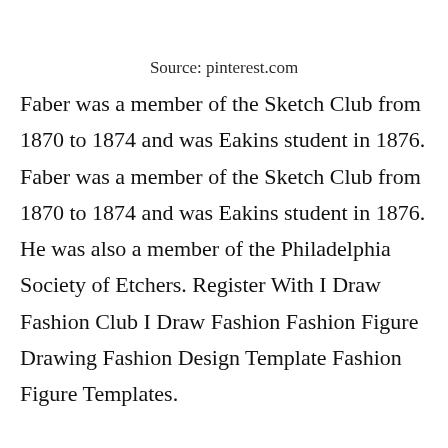Source: pinterest.com
Faber was a member of the Sketch Club from 1870 to 1874 and was Eakins student in 1876. Faber was a member of the Sketch Club from 1870 to 1874 and was Eakins student in 1876. He was also a member of the Philadelphia Society of Etchers. Register With I Draw Fashion Club I Draw Fashion Fashion Figure Drawing Fashion Design Template Fashion Figure Templates.